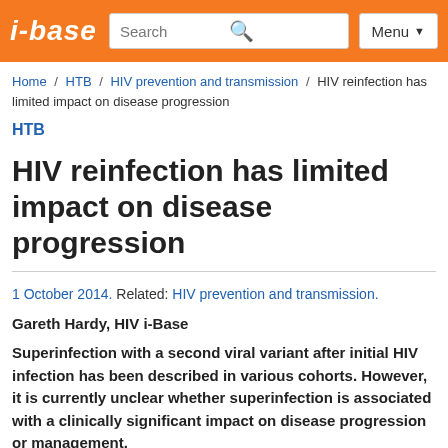i-base | Search | Menu
Home / HTB / HIV prevention and transmission / HIV reinfection has limited impact on disease progression
HTB
HIV reinfection has limited impact on disease progression
1 October 2014. Related: HIV prevention and transmission.
Gareth Hardy, HIV i-Base
Superinfection with a second viral variant after initial HIV infection has been described in various cohorts. However, it is currently unclear whether superinfection is associated with a clinically significant impact on disease progression or management.